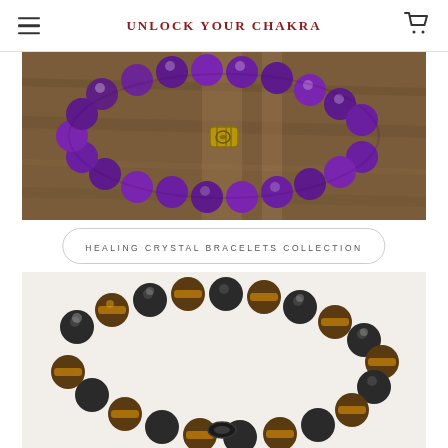UNLOCK YOUR CHAKRA
[Figure (photo): Amethyst purple bead bracelet with a gold decorative barrel bead centerpiece, laid on a wooden surface]
HEALING CRYSTAL BRACELETS COLLECTION
[Figure (photo): Tiger eye and hematite bead bracelet with alternating brown striped and dark gray beads on a white background]